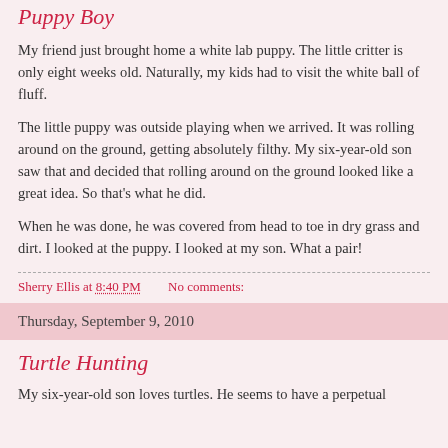Puppy Boy
My friend just brought home a white lab puppy. The little critter is only eight weeks old. Naturally, my kids had to visit the white ball of fluff.
The little puppy was outside playing when we arrived. It was rolling around on the ground, getting absolutely filthy. My six-year-old son saw that and decided that rolling around on the ground looked like a great idea. So that's what he did.
When he was done, he was covered from head to toe in dry grass and dirt. I looked at the puppy. I looked at my son. What a pair!
Sherry Ellis at 8:40 PM    No comments:
Thursday, September 9, 2010
Turtle Hunting
My six-year-old son loves turtles. He seems to have a perpetual